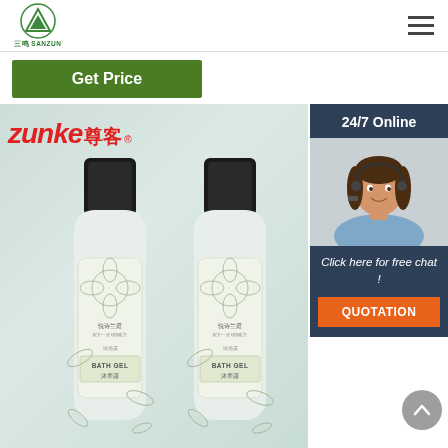[Figure (logo): Sanzun green triangular logo with Chinese text 三鸣 SANZUN]
[Figure (infographic): Hamburger menu icon (three horizontal lines)]
Get Price
24/7 Online
[Figure (photo): Female customer service agent wearing headset, smiling]
Click here for free chat !
QUOTATION
[Figure (photo): Two Zunke bath gel bottles (zunke 尊客 brand, 悦诗兰庭 label, BATH GEL) on light teal/green background]